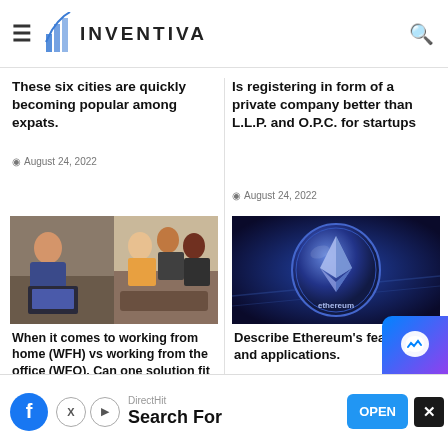INVENTIVA
These six cities are quickly becoming popular among expats.
August 24, 2022
Is registering in form of a private company better than L.L.P. and O.P.C. for startups
August 24, 2022
[Figure (photo): People working together in a collaborative office setting, split image showing person on laptop and group discussion]
When it comes to working from home (WFH) vs working from the office (WFO), Can one solution fit all?
August
[Figure (photo): Ethereum coin on a digital blue background]
Describe Ethereum's features and applications.
August 24, 2022
DirectHit
Search For
OPEN